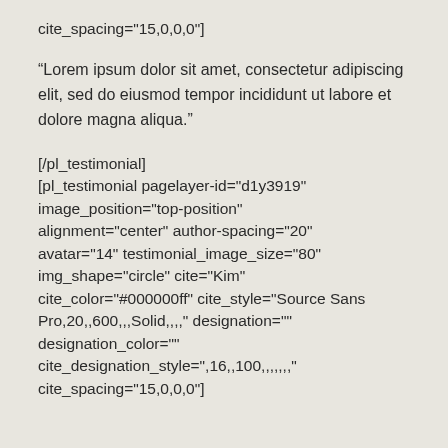cite_spacing="15,0,0,0"]
“Lorem ipsum dolor sit amet, consectetur adipiscing elit, sed do eiusmod tempor incididunt ut labore et dolore magna aliqua.”
[/pl_testimonial]
[pl_testimonial pagelayer-id="d1y3919"
image_position="top-position"
alignment="center" author-spacing="20"
avatar="14" testimonial_image_size="80"
img_shape="circle" cite="Kim"
cite_color="#000000ff" cite_style="Source Sans Pro,20,,600,,,Solid,,,," designation=""
designation_color=""
cite_designation_style=",16,,100,,,,,,,"
cite_spacing="15,0,0,0"]